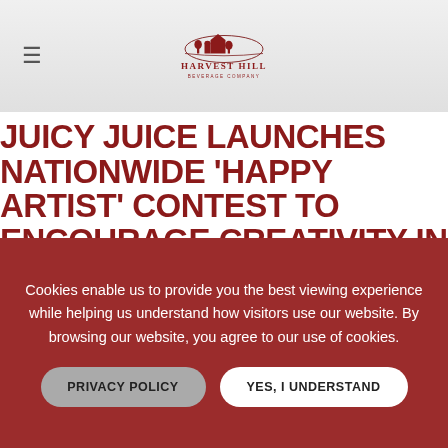Harvest Hill Beverage Company
JUICY JUICE LAUNCHES NATIONWIDE ‘HAPPY ARTIST’ CONTEST TO ENCOURAGE CREATIVITY IN KIDS
The contest promotes creativity among kids and will
Cookies enable us to provide you the best viewing experience while helping us understand how visitors use our website. By browsing our website, you agree to our use of cookies.
PRIVACY POLICY
YES, I UNDERSTAND